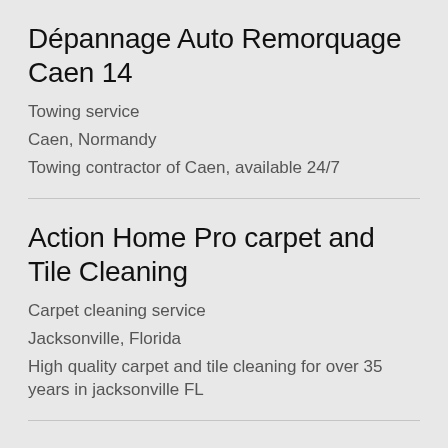Dépannage Auto Remorquage Caen 14
Towing service
Caen, Normandy
Towing contractor of Caen, available 24/7
Action Home Pro carpet and Tile Cleaning
Carpet cleaning service
Jacksonville, Florida
High quality carpet and tile cleaning for over 35 years in jacksonville FL